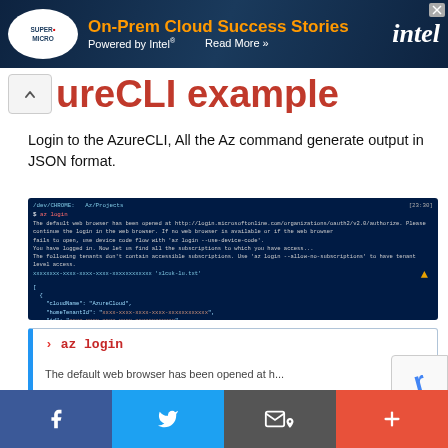[Figure (screenshot): Advertisement banner: Supermicro On-Prem Cloud Success Stories Powered by Intel, Read More >> Intel logo]
ureCLI example
Login to the AzureCLI, All the Az command generate output in JSON format.
[Figure (screenshot): Terminal screenshot showing az login command output with JSON response containing subscription details including cloudName AzureCloud, tenantId, isDefault true, managedByTenants, name, state Enabled, tenantId, user with name and type user]
[Figure (screenshot): Code block showing: > az login command with description 'The default web browser has been opened at h...']
[Figure (screenshot): Social sharing footer bar with Facebook, Twitter, email, and plus buttons]